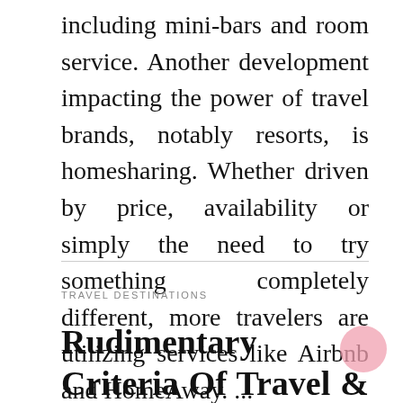including mini-bars and room service. Another development impacting the power of travel brands, notably resorts, is homesharing. Whether driven by price, availability or simply the need to try something completely different, more travelers are utilizing services like Airbnb and HomeAway. ...
TRAVEL DESTINATIONS
Rudimentary Criteria Of Travel & Leasuire Described